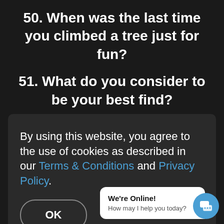50. When was the last time you climbed a tree just for fun?
51. What do you consider to be your best find?
52. What is special about the
By using this website, you agree to the use of cookies as described in our Terms & Conditions and Privacy Policy.
OK
We're Online! How may I help you today?